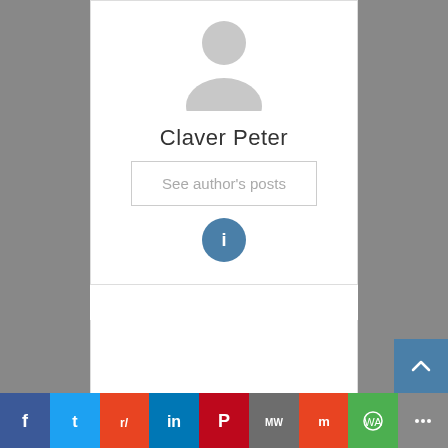[Figure (illustration): Default user avatar (silhouette of person in grey)]
Claver Peter
See author's posts
[Figure (infographic): Blue info circle button with letter i]
[Figure (infographic): Social share bar with Facebook, Twitter, Reddit, LinkedIn, Pinterest, MixedWays, Mix, WhatsApp, and More share buttons]